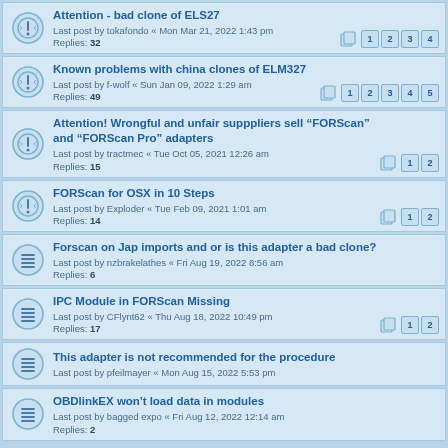Attention - bad clone of ELS27
Last post by tokafondo « Mon Mar 21, 2022 1:43 pm
Replies: 32
Known problems with china clones of ELM327
Last post by f-wolf « Sun Jan 09, 2022 1:29 am
Replies: 49
Attention! Wrongful and unfair supppliers sell "FORScan" and "FORScan Pro" adapters
Last post by tractmec « Tue Oct 05, 2021 12:26 am
Replies: 15
FORScan for OSX in 10 Steps
Last post by Exploder « Tue Feb 09, 2021 1:01 am
Replies: 14
Forscan on Jap imports and or is this adapter a bad clone?
Last post by nzbrakelathes « Fri Aug 19, 2022 8:56 am
Replies: 6
IPC Module in FORScan Missing
Last post by CFlynt62 « Thu Aug 18, 2022 10:49 pm
Replies: 17
This adapter is not recommended for the procedure
Last post by pfeilmayer « Mon Aug 15, 2022 5:53 pm
OBDlinkEX won't load data in modules
Last post by bagged expo « Fri Aug 12, 2022 12:14 am
Replies: 2